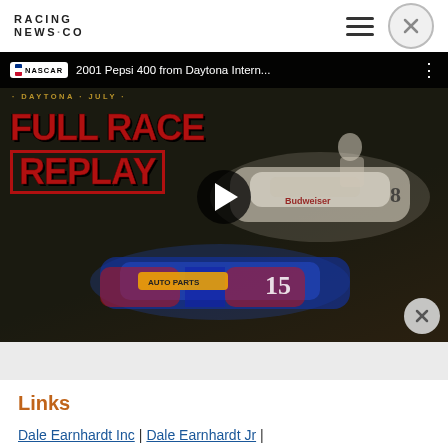RACING NEWS.CO
[Figure (screenshot): YouTube video thumbnail for '2001 Pepsi 400 from Daytona Intern...' showing NASCAR Full Race Replay with two stock cars — a Budweiser #8 car and a NAPA Auto Parts #15 car — with a play button overlay and NASCAR logo badge in the top bar.]
Links
Dale Earnhardt Inc | Dale Earnhardt Jr | Daytona International Speedway |